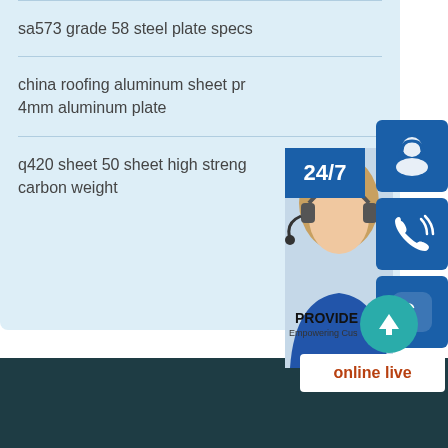sa573 grade 58 steel plate specs
china roofing aluminum sheet pr... 4mm aluminum plate
q420 sheet 50 sheet high streng... carbon weight
[Figure (infographic): Customer service widget with 24/7 label, agent photo, headset icon button, phone icon button, Skype icon button, online live button, and scroll-to-top teal circle arrow button]